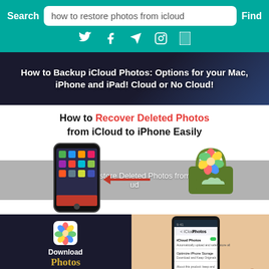[Figure (screenshot): Website search bar with teal background showing search field with text 'how to restore photos from icloud', Search and Find buttons, and social media icons below]
[Figure (screenshot): Hero image with dark background showing text about backup iCloud photos options for Mac, iPhone and iPad, Cloud or No Cloud]
How to Recover Deleted Photos from iCloud to iPhone Easily
[Figure (illustration): Illustration showing iPhone with home screen on the left, Photos app basket icon on the right, red arrow pointing left from Photos to iPhone, gray banner overlay reading 'How to Restore Deleted Photos from iCloud']
[Figure (screenshot): Bottom row: left side dark background with Photos app icon and text 'Download Photos From iCloud'; right side beige background with hand holding phone showing iCloud Photos settings screen]